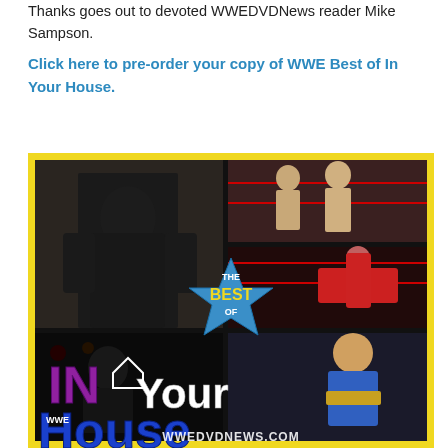Thanks goes out to devoted WWEDVDNews reader Mike Sampson.
Click here to pre-order your copy of WWE Best of In Your House.
[Figure (photo): DVD cover of WWE 'The Best of In Your House' featuring wrestling photos including The Undertaker, and other WWE superstars, with yellow border, blue star badge reading 'THE BEST OF', large 'IN Your House' title text in purple/white, and WWEDVDNews.com watermark at bottom.]